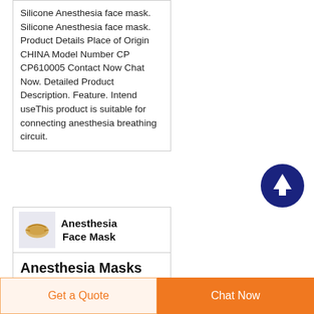Silicone Anesthesia face mask. Silicone Anesthesia face mask. Product Details Place of Origin CHINA Model Number CP CP610005 Contact Now Chat Now. Detailed Product Description. Feature. Intend useThis product is suitable for connecting anesthesia breathing circuit.
[Figure (photo): Small thumbnail image of an anesthesia face mask product, shown in a card header]
Anesthesia Face Mask
Anesthesia Masks for Sale
Get a Quote
Chat Now